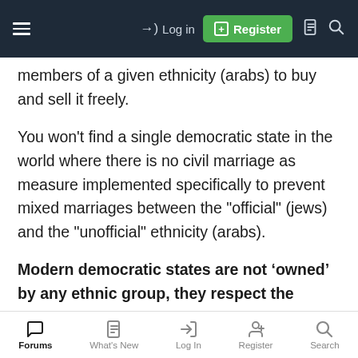≡  →) Log in  [+] Register  📄  🔍
members of a given ethnicity (arabs) to buy and sell it freely.
You won't find a single democratic state in the world where there is no civil marriage as measure implemented specifically to prevent mixed marriages between the "official" (jews) and the "unofficial" ethnicity (arabs).
Modern democratic states are not 'owned' by any ethnic group, they respect the rights of all ethnic
Forums  What's New  Log In  Register  Search